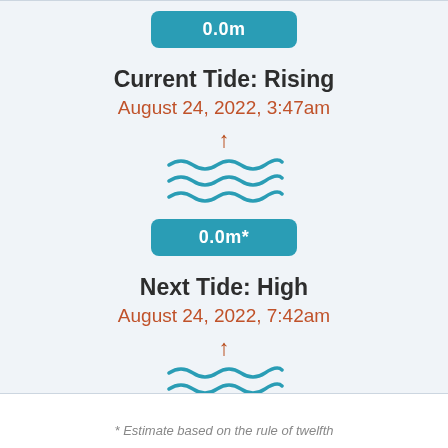[Figure (infographic): Teal badge showing '0.0m' tide measurement at top]
Current Tide: Rising
August 24, 2022, 3:47am
[Figure (illustration): Upward arrow in orange-brown above three rows of blue wavy lines indicating rising tide]
[Figure (infographic): Teal badge showing '0.0m*' current tide height]
Next Tide: High
August 24, 2022, 7:42am
[Figure (illustration): Upward arrow in orange-brown above three rows of blue wavy lines indicating rising tide]
[Figure (infographic): Teal (faded) badge showing '0.1m' next tide height]
* Estimate based on the rule of twelfth